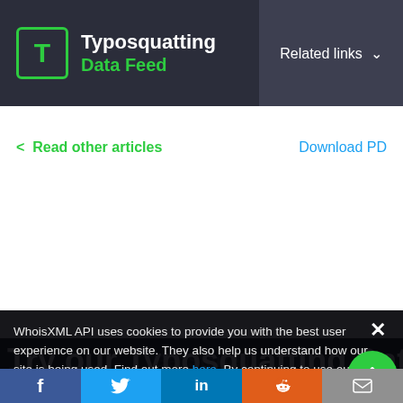Typosquatting Data Feed | Related links
< Read other articles    Download PD
Try our Typosquatting Data Feed for free
WhoisXML API uses cookies to provide you with the best user experience on our website. They also help us understand how our site is being used. Find out more here. By continuing to use our site you consent to the use of
Get Started